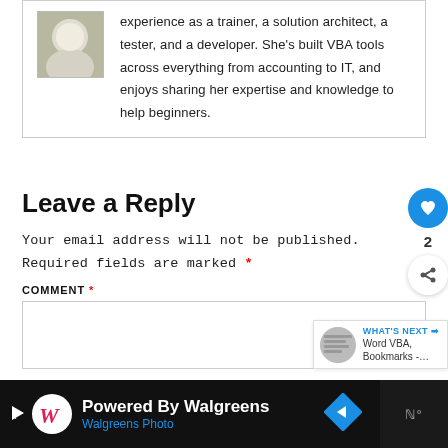experience as a trainer, a solution architect, a tester, and a developer. She's built VBA tools across everything from accounting to IT, and enjoys sharing her expertise and knowledge to help beginners.
Leave a Reply
Your email address will not be published. Required fields are marked *
COMMENT *